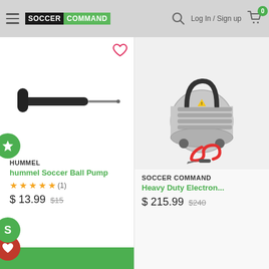Soccer Command — Log In / Sign up — Cart (0)
[Figure (screenshot): Product image of a hummel soccer ball pump (needle pump, black, horizontal)]
HUMMEL
hummel Soccer Ball Pump
★★★★★ (1)
$13.99  $15
[Figure (photo): Product image of a Heavy Duty Electronic air compressor, silver/chrome with red coiled hose]
SOCCER COMMAND
Heavy Duty Electron...
$215.99  $240